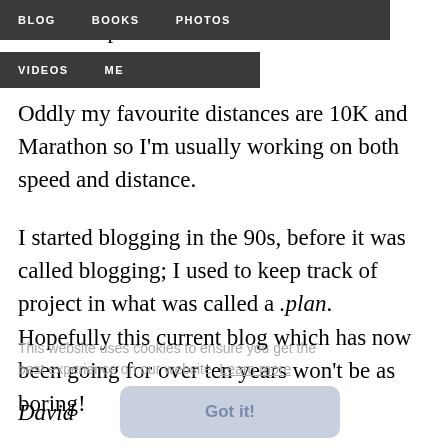BLOG  BOOKS  PHOTOS  VIDEOS  ME
to catch up with the number of ultramarathons. Oddly my favourite distances are 10K and Marathon so I'm usually working on both speed and distance.
I started blogging in the 90s, before it was called blogging; I used to keep track of project in what was called a .plan. Hopefully this current blog which has now been going for over ten years won't be as boring!
David
This website uses cookies to ensure you get the best experience on our website. Learn more
Got it!